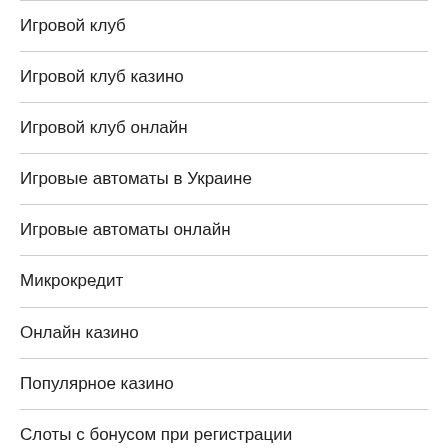Игровой клуб
Игровой клуб казино
Игровой клуб онлайн
Игровые автоматы в Украине
Игровые автоматы онлайн
Микрокредит
Онлайн казино
Популярное казино
Слоты с бонусом при регистрации
Финансы
Форекс